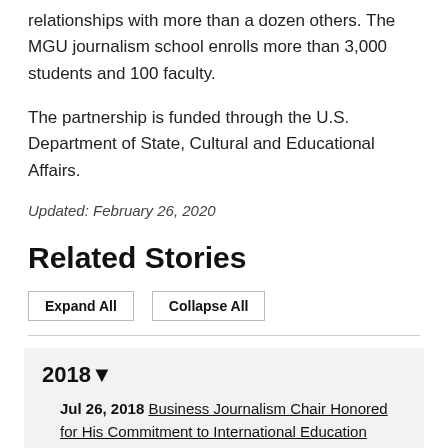relationships with more than a dozen others. The MGU journalism school enrolls more than 3,000 students and 100 faculty.
The partnership is funded through the U.S. Department of State, Cultural and Educational Affairs.
Updated: February 26, 2020
Related Stories
Expand All   Collapse All
2018▼
Jul 26, 2018 Business Journalism Chair Honored for His Commitment to International Education